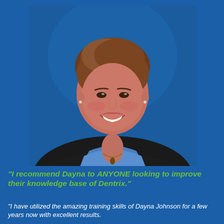[Figure (photo): Professional headshot of a smiling middle-aged woman with short brown hair, wearing a black blazer over a blue top with a necklace, photographed against a blue background.]
"I recommend Dayna to ANYONE looking to improve their knowledge base of Dentrix."
"I have utilized the amazing training skills of Dayna Johnson for a few years now with excellent results.